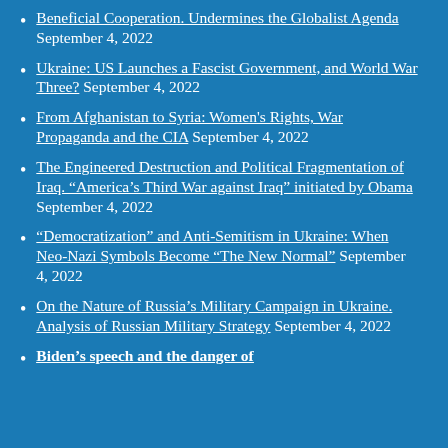Beneficial Cooperation. Undermines the Globalist Agenda September 4, 2022
Ukraine: US Launches a Fascist Government, and World War Three? September 4, 2022
From Afghanistan to Syria: Women's Rights, War Propaganda and the CIA September 4, 2022
The Engineered Destruction and Political Fragmentation of Iraq. "America's Third War against Iraq" initiated by Obama September 4, 2022
"Democratization" and Anti-Semitism in Ukraine: When Neo-Nazi Symbols Become "The New Normal" September 4, 2022
On the Nature of Russia's Military Campaign in Ukraine. Analysis of Russian Military Strategy September 4, 2022
Biden's speech and the danger of fascism in America (cut off)